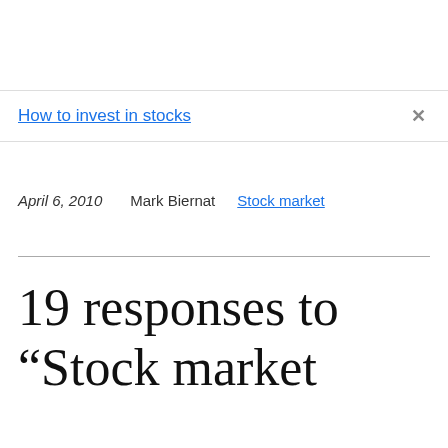How to invest in stocks
April 6, 2010   Mark Biernat   Stock market
19 responses to “Stock market